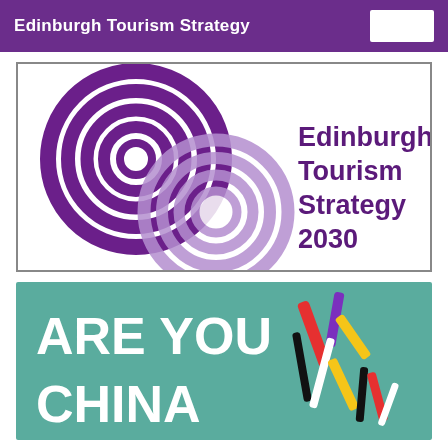Edinburgh Tourism Strategy 2030
[Figure (logo): Edinburgh Tourism Strategy 2030 logo with two overlapping concentric circle motifs in purple and lavender, with bold purple text reading 'Edinburgh Tourism Strategy 2030']
[Figure (illustration): Teal/green banner with bold white text 'ARE YOU CHINA' and a colourful stylised Chinese character made of multi-coloured paper strips]